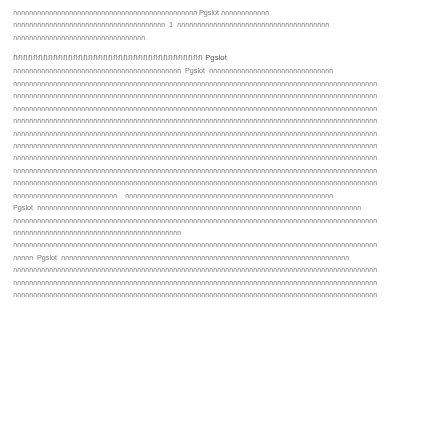Thai text paragraph about Pgslot with number 1 in the middle, followed by more Thai text.
Thai section header mentioning Pgslot
Long Thai text paragraphs discussing Pgslot across multiple lines with detailed content.